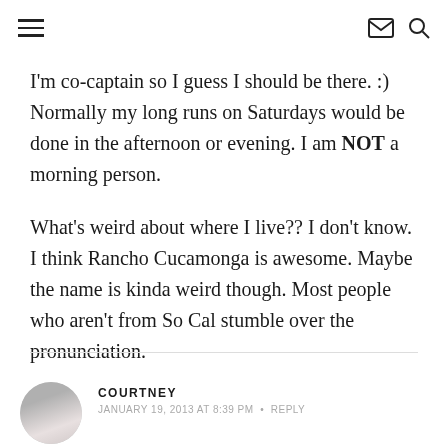[hamburger menu] [email icon] [search icon]
I'm co-captain so I guess I should be there. :) Normally my long runs on Saturdays would be done in the afternoon or evening. I am NOT a morning person.
What's weird about where I live?? I don't know. I think Rancho Cucamonga is awesome. Maybe the name is kinda weird though. Most people who aren't from So Cal stumble over the pronunciation.
COURTNEY • JANUARY 19, 2013 AT 8:39 PM • REPLY